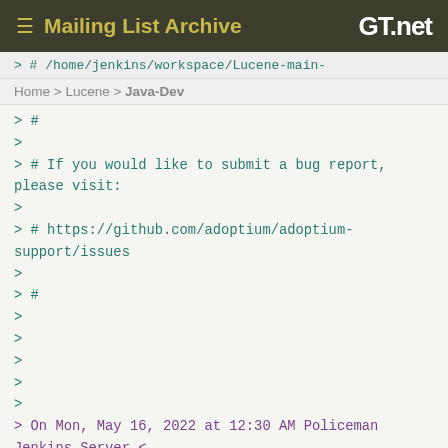Mailing List Archive | GT.net
> # /home/jenkins/workspace/lucene-main-
Home > Lucene > Java-Dev
> #
>
> # If you would like to submit a bug report, please visit:
>
> # https://github.com/adoptium/adoptium-support/issues
>
> #
>
>
>
>
>
>
> On Mon, May 16, 2022 at 12:30 AM Policeman Jenkins Server <
> jenkins@thetaphi.de> wrote:
>
> Build: https://jenkins.thetaphi.de/job/Lucene-main-Linux/34604/
> Java: 64bit/jdk-17.0.2 -XX:-UseCompressedOops -XX:+UseParallelGC